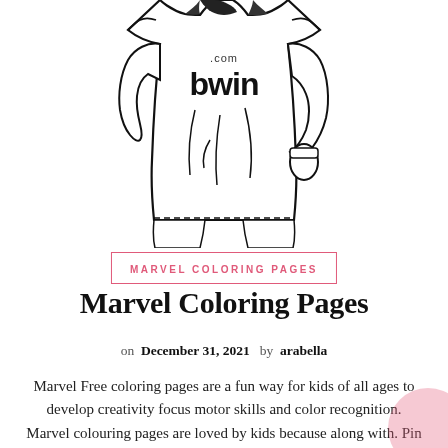[Figure (illustration): Black and white line drawing (coloring page) of a soccer player wearing a jersey with 'bwin.com' logo, shown from torso down, running pose with one arm bent.]
MARVEL COLORING PAGES
Marvel Coloring Pages
on December 31, 2021  by arabella
Marvel Free coloring pages are a fun way for kids of all ages to develop creativity focus motor skills and color recognition. Marvel colouring pages are loved by kids because along with. Pin On Konyhak Hazak Otletek See